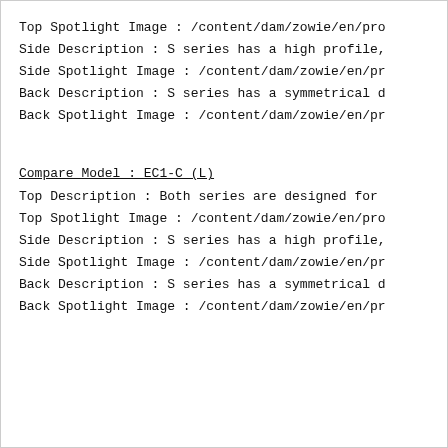Top Spotlight Image : /content/dam/zowie/en/pro
Side Description : S series has a high profile,
Side Spotlight Image : /content/dam/zowie/en/pr
Back Description : S series has a symmetrical d
Back Spotlight Image : /content/dam/zowie/en/pr
Compare Model : EC1-C (L)
Top Description : Both series are designed for
Top Spotlight Image : /content/dam/zowie/en/pro
Side Description : S series has a high profile,
Side Spotlight Image : /content/dam/zowie/en/pr
Back Description : S series has a symmetrical d
Back Spotlight Image : /content/dam/zowie/en/pr